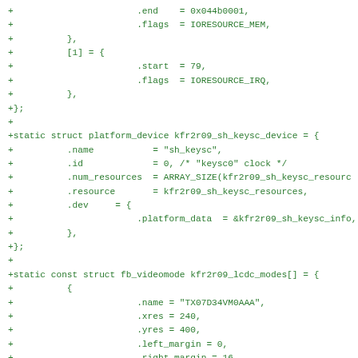+                       .end    = 0x044b0001,
+                       .flags  = IORESOURCE_MEM,
+          },
+          [1] = {
+                       .start  = 79,
+                       .flags  = IORESOURCE_IRQ,
+          },
+};
+
+static struct platform_device kfr2r09_sh_keysc_device = {
+          .name           = "sh_keysc",
+          .id             = 0, /* "keysc0" clock */
+          .num_resources  = ARRAY_SIZE(kfr2r09_sh_keysc_resourc
+          .resource       = kfr2r09_sh_keysc_resources,
+          .dev     = {
+                       .platform_data  = &kfr2r09_sh_keysc_info,
+          },
+};
+
+static const struct fb_videomode kfr2r09_lcdc_modes[] = {
+          {
+                       .name = "TX07D34VM0AAA",
+                       .xres = 240,
+                       .yres = 400,
+                       .left_margin = 0,
+                       .right_margin = 16,